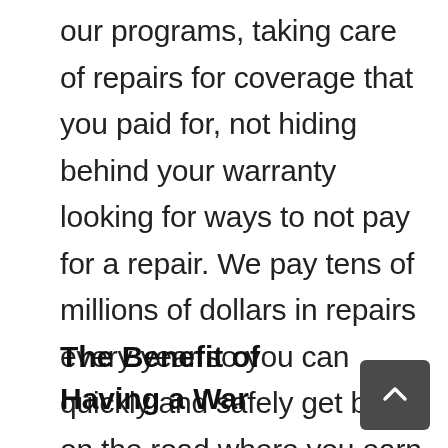our programs, taking care of repairs for coverage that you paid for, not hiding behind your warranty looking for ways to not pay for a repair. We pay tens of millions of dollars in repairs every year so you can quickly and safely get back on the road where you earn your living.
The Benefit of Having a Warranty